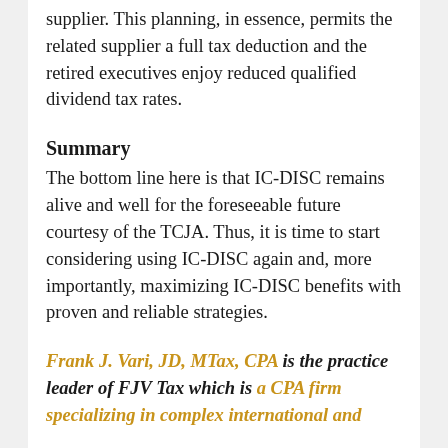supplier. This planning, in essence, permits the related supplier a full tax deduction and the retired executives enjoy reduced qualified dividend tax rates.
Summary
The bottom line here is that IC-DISC remains alive and well for the foreseeable future courtesy of the TCJA. Thus, it is time to start considering using IC-DISC again and, more importantly, maximizing IC-DISC benefits with proven and reliable strategies.
Frank J. Vari, JD, MTax, CPA is the practice leader of FJV Tax which is a CPA firm specializing in complex international and